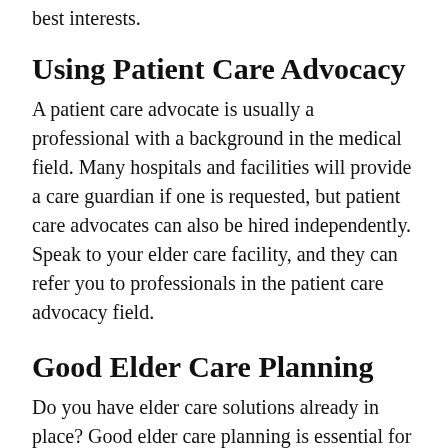best interests.
Using Patient Care Advocacy
A patient care advocate is usually a professional with a background in the medical field. Many hospitals and facilities will provide a care guardian if one is requested, but patient care advocates can also be hired independently. Speak to your elder care facility, and they can refer you to professionals in the patient care advocacy field.
Good Elder Care Planning
Do you have elder care solutions already in place? Good elder care planning is essential for a majority of Americans. It's a good idea to think ahead and start planning, rather than waiting until decisions have to be made on an immediate basis. Whether